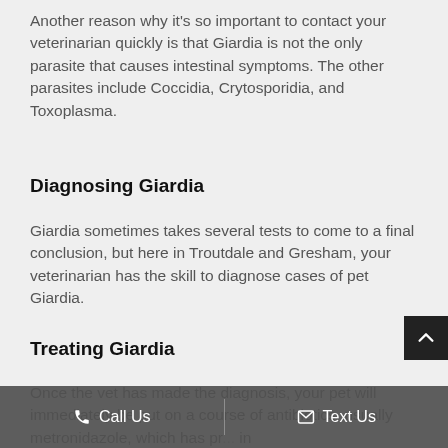Another reason why it's so important to contact your veterinarian quickly is that Giardia is not the only parasite that causes intestinal symptoms. The other parasites include Coccidia, Crytosporidia, and Toxoplasma.
Diagnosing Giardia
Giardia sometimes takes several tests to come to a final conclusion, but here in Troutdale and Gresham, your veterinarian has the skill to diagnose cases of pet Giardia.
Treating Giardia
Once the vet has made the diagnosis, your pet will immediately be put on a course of antibiotics, usually metronidazole, which has pr... in